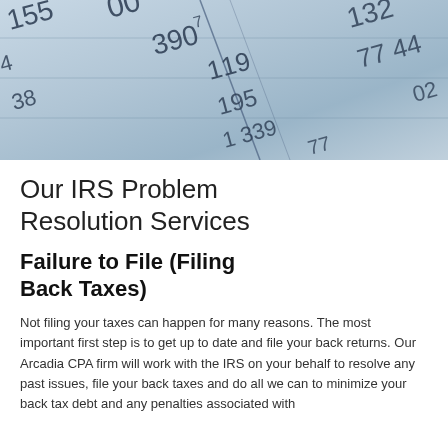[Figure (photo): Close-up photo of a financial ledger or spreadsheet with numbers including 155, 390, 119, 195, 339, 132, 77, 449, written in dark ink on light blue/white ruled paper]
Our IRS Problem Resolution Services
Failure to File (Filing Back Taxes)
Not filing your taxes can happen for many reasons. The most important first step is to get up to date and file your back returns. Our Arcadia CPA firm will work with the IRS on your behalf to resolve any past issues, file your back taxes and do all we can to minimize your back tax debt and any penalties associated with